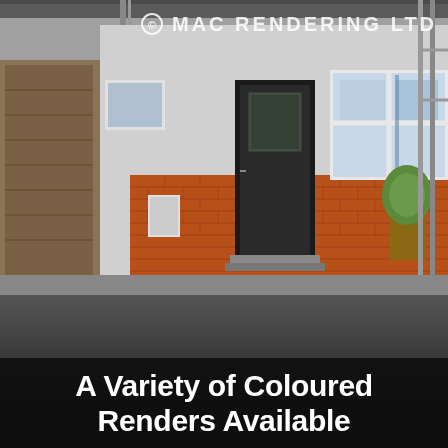[Figure (photo): Photograph of a brick house exterior with white-framed windows and a black front door, scaffolding visible, with a watermark reading '© MAC RENDERING LTD' overlaid at the top center.]
A Variety of Coloured Renders Available